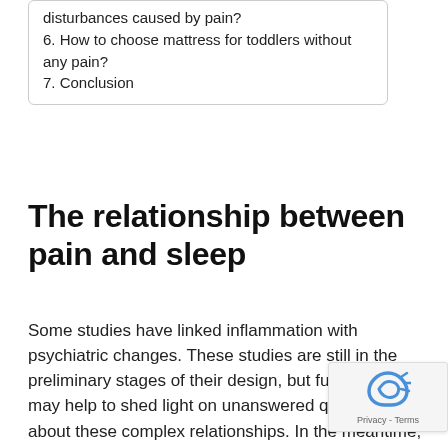disturbances caused by pain?
6. How to choose mattress for toddlers without any pain?
7. Conclusion
The relationship between pain and sleep
Some studies have linked inflammation with psychiatric changes. These studies are still in the preliminary stages of their design, but future research may help to shed light on unanswered questions about these complex relationships. In the meantime, clinicians should take these findings into consideration when counseling patients suffering from pain. The relationship between pain and sleep has long been established, but more understanding of the mechanisms between the tw